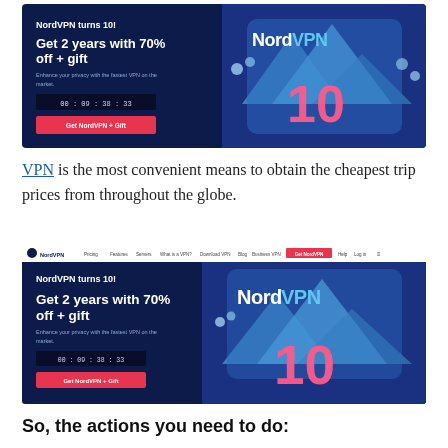[Figure (screenshot): NordVPN advertisement banner showing 'NordVPN turns 10! Get 2 years with 70% off + gift' with countdown timer '00 : 09 : 38 : 33' and 'Get NordVPN + Gift' red button, dark blue background with NordVPN logo and '10' in pink]
VPN is the most convenient means to obtain the cheapest trip prices from throughout the globe.
[Figure (screenshot): NordVPN website screenshot with navigation bar (Pricing, Features, Servers, What is a VPN?, Download VPN, Blog, Business VPN, Get NordVPN button, Help, Log in) and same advertisement content: 'NordVPN turns 10! Get 2 years with 70% off + gift' with countdown '00 : 09 : 38 : 33' and 'Get NordVPN + Gift' button]
So, the actions you need to do: